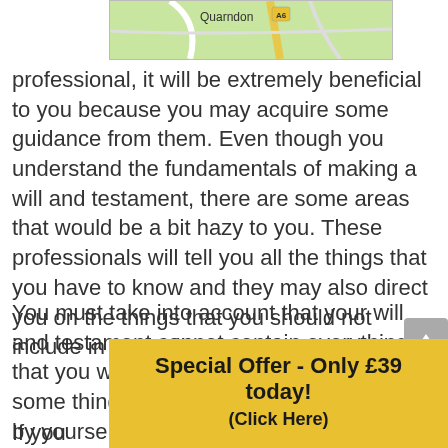[Figure (map): Partial map showing Quarndon area with road marked A6]
professional, it will be extremely beneficial to you because you may acquire some guidance from them. Even though you understand the fundamentals of making a will and testament, there are some areas that would be a bit hazy to you. These professionals will tell you all the things that you have to know and they may also direct you on the things that you should not include in your will.
You must take into account that your will and testament cannot contain everything that you would like to transfer. There are some things that you will have to arrange by yourself because they are not included in the scope of your w
If you
Special Offer - Only £39 today! (Click Here)